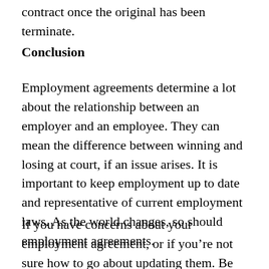contract once the original has been terminate.
Conclusion
Employment agreements determine a lot about the relationship between an employer and an employee. They can mean the difference between winning and losing at court, if an issue arises. It is important to keep employment up to date and representative of current employment laws. As the world changes, so should employment agreements.
If you have concerns about your employment agreement, or if you’re not sure how to go about updating them. Be sure to reach out to a